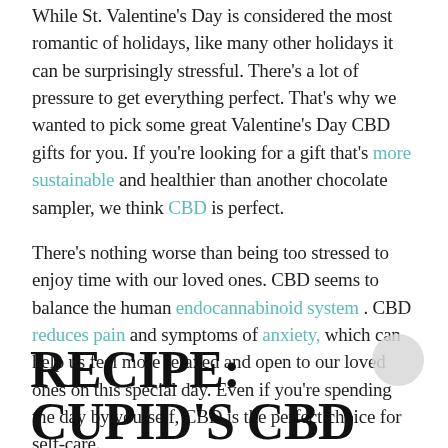While St. Valentine's Day is considered the most romantic of holidays, like many other holidays it can be surprisingly stressful. There's a lot of pressure to get everything perfect. That's why we wanted to pick some great Valentine's Day CBD gifts for you. If you're looking for a gift that's more sustainable and healthier than another chocolate sampler, we think CBD is perfect.
There's nothing worse than being too stressed to enjoy time with our loved ones. CBD seems to balance the human endocannabinoid system . CBD reduces pain and symptoms of anxiety, which can help us feel more relaxed and open to our loved ones on this special day. Even if you're spending the day by yourself, CBD is the perfect choice for self-care.
Read on for a special Valentine's Day CBD cocktail recipe, and our complete CBD Valentine's Day gift guide.
RECIPE: CUPID'S CBD